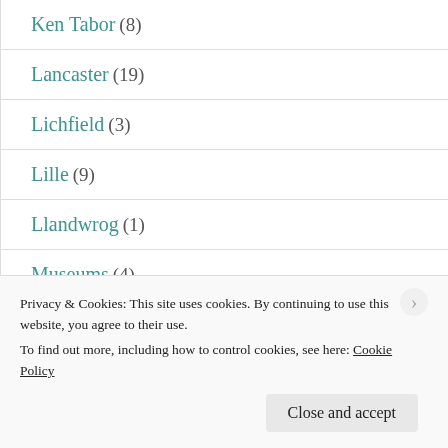Ken Tabor (8)
Lancaster (19)
Lichfield (3)
Lille (9)
Llandwrog (1)
Museums (4)
Myths & Legends (9)
Privacy & Cookies: This site uses cookies. By continuing to use this website, you agree to their use.
To find out more, including how to control cookies, see here: Cookie Policy
Close and accept